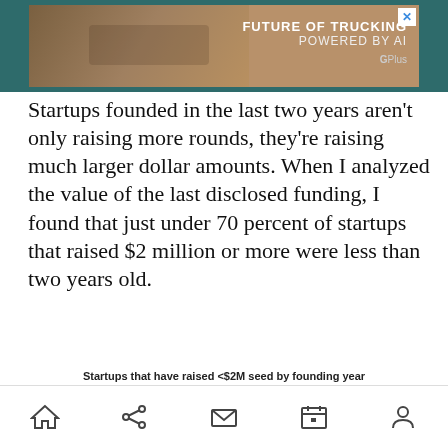[Figure (screenshot): Advertisement banner: 'Future of Trucking Powered by AI' with truck image and G Plus logo]
Startups founded in the last two years aren't only raising more rounds, they're raising much larger dollar amounts. When I analyzed the value of the last disclosed funding, I found that just under 70 percent of startups that raised $2 million or more were less than two years old.
[Figure (bar-chart): Startups that have raised <$2M seed by founding year]
Home  Share  Mail  Calendar  Profile